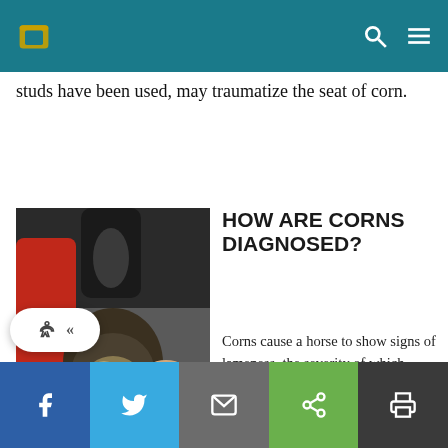studs have been used, may traumatize the seat of corn.
[Figure (photo): A person in a red jacket examining or holding a horse's hoof, showing the underside of the hoof.]
HOW ARE CORNS DIAGNOSED?
Corns cause a horse to show signs of lameness, the severity of which depends upon the degree of